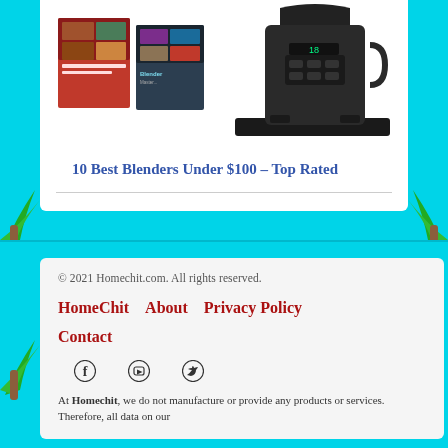[Figure (photo): Black blender with cookbooks in the background, product photo for article about best blenders under $100]
10 Best Blenders Under $100 – Top Rated
© 2021 Homechit.com. All rights reserved.
HomeChit  About  Privacy Policy  Contact
[Figure (infographic): Social media icons: Facebook, YouTube, Twitter]
At Homechit, we do not manufacture or provide any products or services. Therefore, all data on our